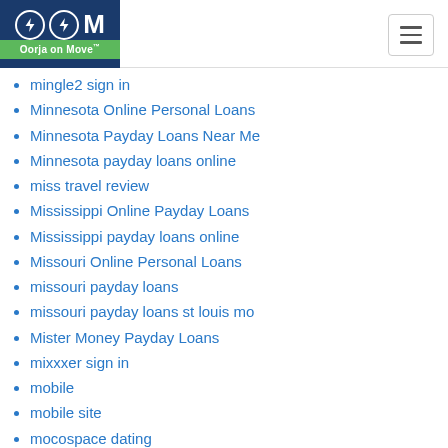Oorja on Move
mingle2 sign in
Minnesota Online Personal Loans
Minnesota Payday Loans Near Me
Minnesota payday loans online
miss travel review
Mississippi Online Payday Loans
Mississippi payday loans online
Missouri Online Personal Loans
missouri payday loans
missouri payday loans st louis mo
Mister Money Payday Loans
mixxxer sign in
mobile
mobile site
mocospace dating
money 4 you payday loans